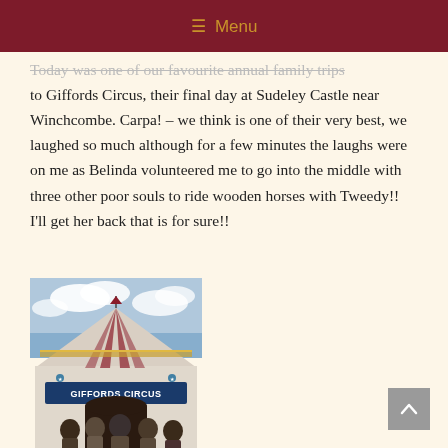Menu
Today was one of our favourite annual family trips to Giffords Circus, their final day at Sudeley Castle near Winchcombe. Carpa! – we think is one of their very best, we laughed so much although for a few minutes the laughs were on me as Belinda volunteered me to go into the middle with three other poor souls to ride wooden horses with Tweedy!! I'll get her back that is for sure!!
[Figure (photo): Photo of a group of people standing in front of the Giffords Circus tent entrance, with a cloudy blue sky in the background. A banner reads 'Giffords Circus'.]